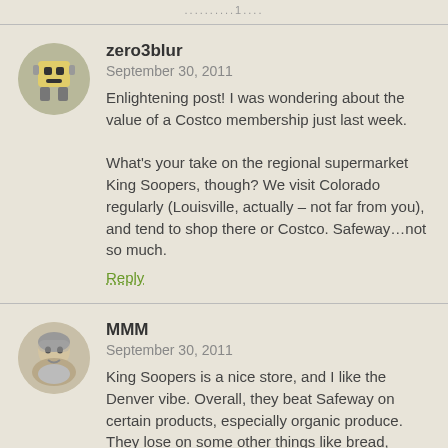..........1...
zero3blur
September 30, 2011
Enlightening post! I was wondering about the value of a Costco membership just last week.

What's your take on the regional supermarket King Soopers, though? We visit Colorado regularly (Louisville, actually – not far from you), and tend to shop there or Costco. Safeway…not so much.
Reply
MMM
September 30, 2011
King Soopers is a nice store, and I like the Denver vibe. Overall, they beat Safeway on certain products, especially organic produce. They lose on some other things like bread, cheese and milk.

I definitely prefer King Sooper's over Safeway overall, but it is an extra mile or so further from my house, so I tend to use Safeway for high-speed stock-ups during the week.